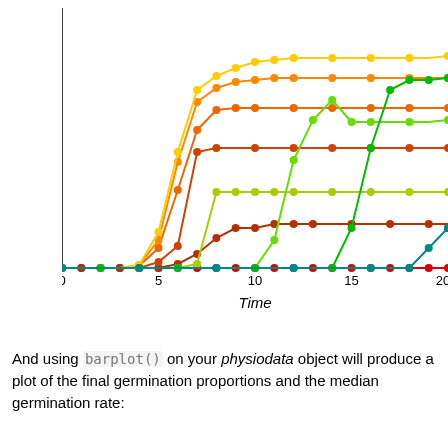[Figure (continuous-plot): Line chart showing germination proportion (y-axis, 0.0 to 1.0) over Time (x-axis, 0 to 20+). Multiple colored lines (red, dark red, orange-red, orange, yellow-orange, yellow, yellow-green, green, dark green, teal) showing cumulative germination curves for different treatments. Lines rise steeply between time 5-15 and plateau at different final proportions ranging from near 0 to ~0.95.]
And using barplot() on your physiodata object will produce a plot of the final germination proportions and the median germination rate: